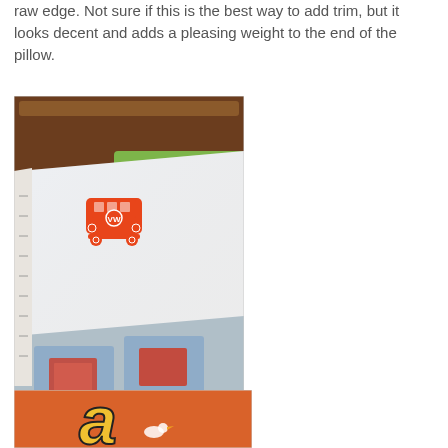raw edge. Not sure if this is the best way to add trim, but it looks decent and adds a pleasing weight to the end of the pillow.
[Figure (photo): A white pillowcase with an orange VW bus (Volkswagen van) screen print on it, displayed on a bed with a colorful quilt featuring blue, gray, and red square patches. Green polka dot pillow visible in the background against a wooden headboard.]
[Figure (photo): Partial view of a pillow or artwork with a large yellow-outlined letter 'a' on an orange background, with a small white bird or duck figure visible near the letter.]